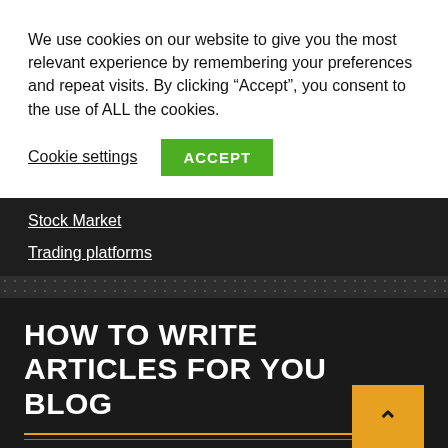We use cookies on our website to give you the most relevant experience by remembering your preferences and repeat visits. By clicking “Accept”, you consent to the use of ALL the cookies.
Cookie settings
ACCEPT
Stock Market
Trading platforms
HOW TO WRITE ARTICLES FOR YOU BLOG
Automatically write articles for you blog with a AI.